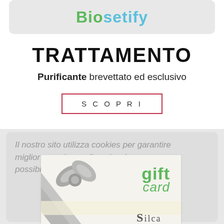[Figure (logo): Biosetify logo in a light grey rounded rectangle, with 'Bio' in green and 'setify' in light blue]
TRATTAMENTO
Purificante brevettato ed esclusivo
SCOPRI
Il nostro sito utilizza cookies per garantire miglior esperienza di navigazione possibile. Lea...
[Figure (photo): Silca gift card with grey ribbon bow decoration, 'gift card' text in green, and Silca calze+collant logo at bottom right]